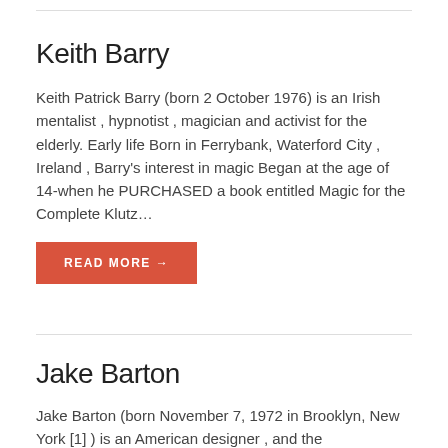Keith Barry
Keith Patrick Barry (born 2 October 1976) is an Irish mentalist , hypnotist , magician and activist for the elderly. Early life Born in Ferrybank, Waterford City , Ireland , Barry's interest in magic Began at the age of 14-when he PURCHASED a book entitled Magic for the Complete Klutz…
READ MORE →
Jake Barton
Jake Barton (born November 7, 1972 in Brooklyn, New York [1] ) is an American designer , and the